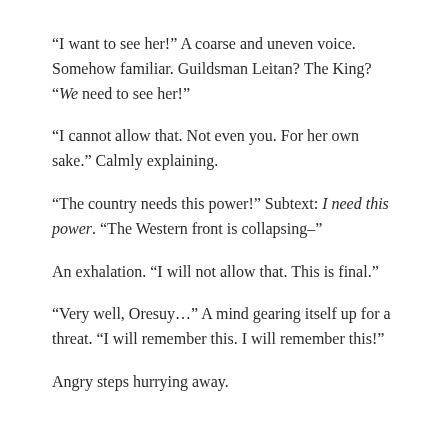“I want to see her!” A coarse and uneven voice. Somehow familiar. Guildsman Leitan? The King? “We need to see her!”
“I cannot allow that. Not even you. For her own sake.” Calmly explaining.
“The country needs this power!” Subtext: I need this power. “The Western front is collapsing–”
An exhalation. “I will not allow that. This is final.”
“Very well, Oresuy…” A mind gearing itself up for a threat. “I will remember this. I will remember this!”
Angry steps hurrying away.
Aniyé coughed, suddenly feeling the dryness in her mouth, the